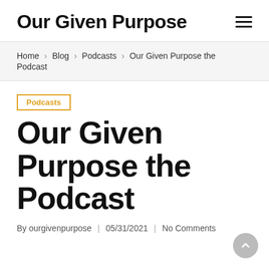Our Given Purpose
Home > Blog > Podcasts > Our Given Purpose the Podcast
Podcasts
Our Given Purpose the Podcast
By ourgivenpurpose | 05/31/2021 | No Comments